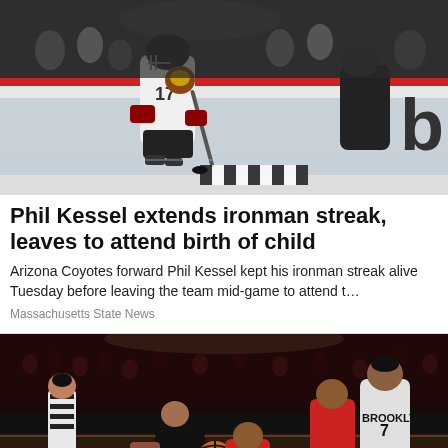[Figure (photo): Hockey player wearing Arizona Coyotes jersey number 17 in action on ice, with puck and another player visible]
Phil Kessel extends ironman streak, leaves to attend birth of child
Arizona Coyotes forward Phil Kessel kept his ironman streak alive Tuesday before leaving the team mid-game to attend t…
Massachusetts State News
[Figure (photo): Basketball game action shot showing Brooklyn Nets players including number 7 in Brooklyn jersey competing for the ball against opposing team players, with referee and crowd in background]